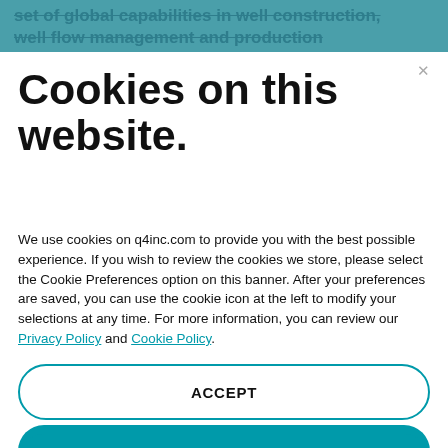set of global capabilities in well construction, well flow management and production
Cookies on this website.
We use cookies on q4inc.com to provide you with the best possible experience. If you wish to review the cookies we store, please select the Cookie Preferences option on this banner. After your preferences are saved, you can use the cookie icon at the left to modify your selections at any time. For more information, you can review our Privacy Policy and Cookie Policy.
ACCEPT
COOKIE PREFERENCES
NO, THANKS